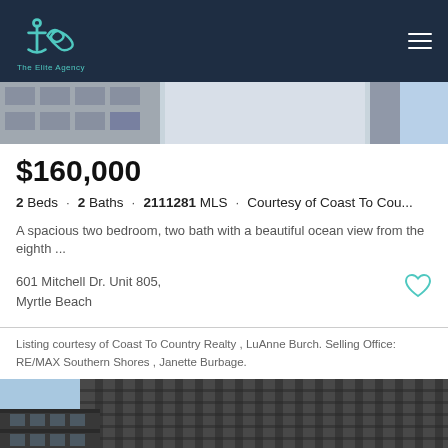[Figure (logo): The Elite Agency logo - anchor with infinity symbol in teal on dark navy background]
[Figure (photo): Top portion of a building exterior with blue sky, partial view]
$160,000
2 Beds · 2 Baths · 2111281 MLS · Courtesy of Coast To Cou...
A spacious two bedroom, two bath with a beautiful ocean view from the eighth ...
601 Mitchell Dr. Unit 805,
Myrtle Beach
Listing courtesy of Coast To Country Realty , LuAnne Burch. Selling Office: RE/MAX Southern Shores , Janette Burbage.
[Figure (photo): Bottom portion of building exterior - tall high-rise condominium against blue sky, viewed from below at an angle]